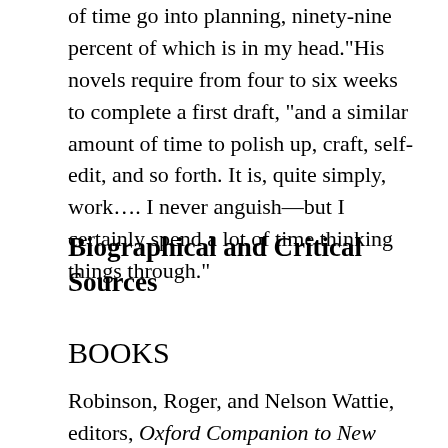of time go into planning, ninety-nine percent of which is in my head."His novels require from four to six weeks to complete a first draft, "and a similar amount of time to polish up, craft, self-edit, and so forth. It is, quite simply, work…. I never anguish—but I certainly spend a lot of time thinking things through."
Biographical and Critical Sources
BOOKS
Robinson, Roger, and Nelson Wattie, editors, Oxford Companion to New Zealand Literature, Oxford University Press